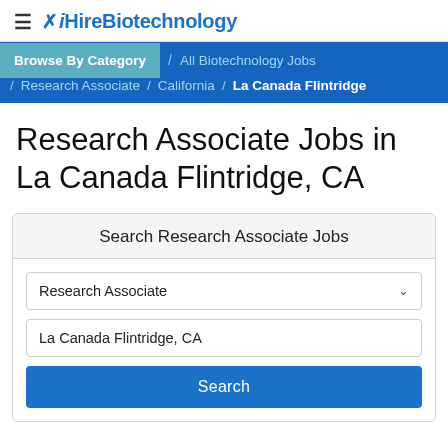≡ iHireBiotechnology
Browse By Category / All Biotechnology Jobs / Research Associate / California / La Canada Flintridge
Research Associate Jobs in La Canada Flintridge, CA
Search Research Associate Jobs
Research Associate
La Canada Flintridge, CA
Search